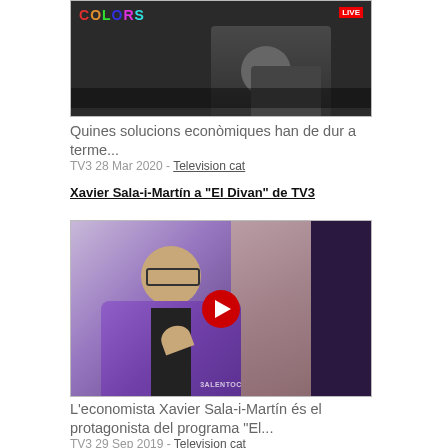[Figure (screenshot): Video thumbnail showing a person in dark clothing against a dark background with colorful TV show branding]
Quines solucions econòmiques han de dur a terme...
TV3 28 Mar 2020 - Television cat
Xavier Sala-i-Martín a "El Divan" de TV3
[Figure (screenshot): Video thumbnail showing a man in a purple blazer smiling, with a red play button overlay, TV3 show El Divan]
L'economista Xavier Sala-i-Martín és el protagonista del programa "El...
TV3 29 Sep 2019 - Television cat
Els robots ens trauran la feina?, al Revolució 4.0 de TV3